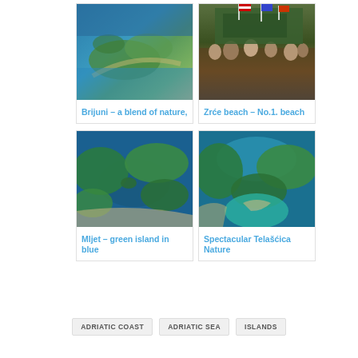[Figure (photo): Aerial view of Brijuni islands with blue sea and forested land]
Brijuni – a blend of nature,
[Figure (photo): Crowd at Zrće beach club with flags and bar]
Zrće beach – No.1. beach
[Figure (photo): Aerial view of Mljet island with green forest and blue lake]
Mljet – green island in blue
[Figure (photo): Aerial view of Telašćica Nature Park with blue sea inlets]
Spectacular Telašćica Nature
ADRIATIC COAST
ADRIATIC SEA
ISLANDS